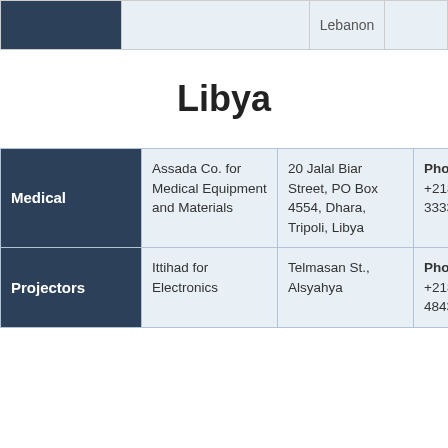| Category | Company | Address | Contact |
| --- | --- | --- | --- |
|  |  | Lebanon |  |
Libya
| Category | Company | Address | Contact |
| --- | --- | --- | --- |
| Medical | Assada Co. for Medical Equipment and Materials | 20 Jalal Biar Street, PO Box 4554, Dhara, Tripoli, Libya | Phone +218-21 3333143 |
| Projectors | Ittihad for Electronics | Telmasan St., Alsyahya | Phone +218- 4843464 |